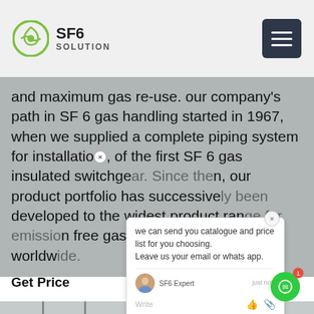SF6 SOLUTION
and maximum gas re-use. our company's path in SF 6 gas handling started in 1967, when we supplied a complete piping system for installation of the first SF 6 gas insulated switchgear. Since then, our product portfolio has successively been developed to the widest product range for emission free gas handling equipment worldwide.
Get Price
[Figure (photo): Power transmission towers/pylons in foggy/hazy conditions]
[Figure (screenshot): Chat popup overlay: 'we can send you catalogue and price list for you choosing. Leave us your email or whatsapp.' with SF6 Expert agent, just now timestamp, write input row with thumbs up and paperclip icons]